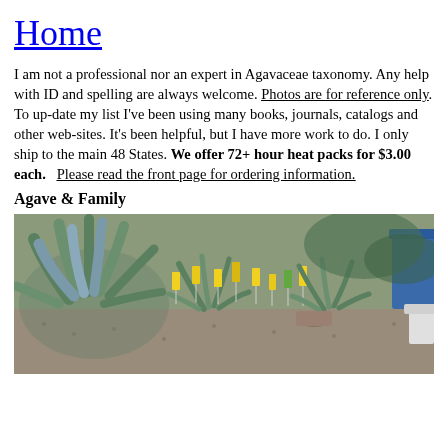Home
I am not a professional nor an expert in Agavaceae taxonomy. Any help with ID and spelling are always welcome. Photos are for reference only. To up-date my list I've been using many books, journals, catalogs and other web-sites. It's been helpful, but I have more work to do. I only ship to the main 48 States. We offer 72+ hour heat packs for $3.00 each.   Please read the front page for ordering information.
Agave & Family
[Figure (photo): Nursery photo showing agave plants and other succulents in pots with yellow plant tags outdoors on gravel.]